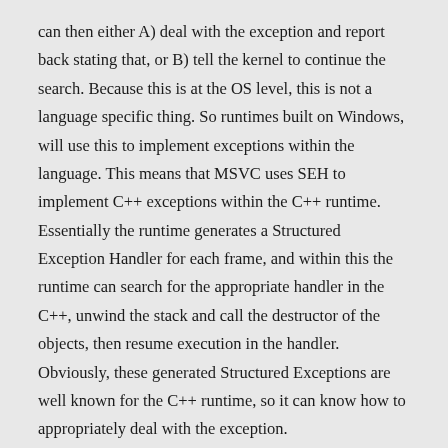can then either A) deal with the exception and report back stating that, or B) tell the kernel to continue the search. Because this is at the OS level, this is not a language specific thing. So runtimes built on Windows, will use this to implement exceptions within the language. This means that MSVC uses SEH to implement C++ exceptions within the C++ runtime. Essentially the runtime generates a Structured Exception Handler for each frame, and within this the runtime can search for the appropriate handler in the C++, unwind the stack and call the destructor of the objects, then resume execution in the handler. Obviously, these generated Structured Exceptions are well known for the C++ runtime, so it can know how to appropriately deal with the exception.
What if Microsoft was using a Structured Exception for their assertion? The behaviour lines up with that hypothesis, in that something is generated on failed assertion that crashes the application. In SEH, if there isn't an appropriate handler found the